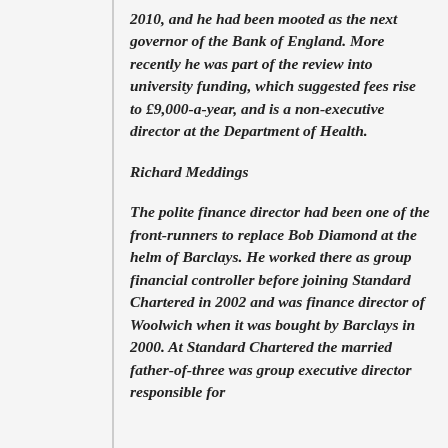2010, and he had been mooted as the next governor of the Bank of England. More recently he was part of the review into university funding, which suggested fees rise to £9,000-a-year, and is a non-executive director at the Department of Health.
Richard Meddings
The polite finance director had been one of the front-runners to replace Bob Diamond at the helm of Barclays. He worked there as group financial controller before joining Standard Chartered in 2002 and was finance director of Woolwich when it was bought by Barclays in 2000. At Standard Chartered the married father-of-three was group executive director responsible for